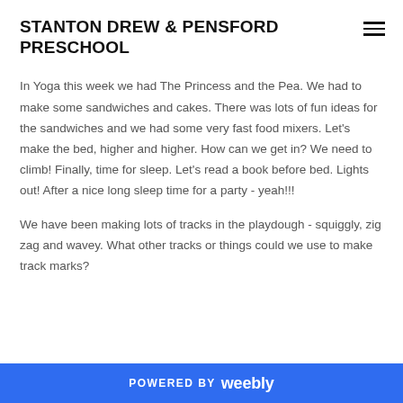STANTON DREW & PENSFORD PRESCHOOL
In Yoga this week we had The Princess and the Pea.  We had to make some sandwiches and cakes.  There was lots of fun ideas for the sandwiches and we had some very fast food mixers.  Let's make the bed, higher and higher.  How can we get in?  We need to climb!  Finally, time for sleep.  Let's read a book before bed.  Lights out!  After a nice long sleep time for a party - yeah!!!
We have been making lots of tracks in the playdough - squiggly, zig zag and wavey.  What other tracks or things could we use to make track marks?
POWERED BY weebly